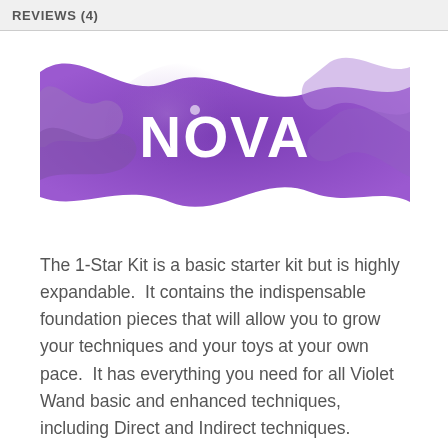REVIEWS (4)
[Figure (illustration): NOVA brand banner with wavy purple background and white bold text reading NOVA in the center]
The 1-Star Kit is a basic starter kit but is highly expandable. It contains the indispensable foundation pieces that will allow you to grow your techniques and your toys at your own pace. It has everything you need for all Violet Wand basic and enhanced techniques, including Direct and Indirect techniques. It has a range of electrodes and accessories that will provide sensations from level 1-10. The basic pieces it contains are the most highly versatile of